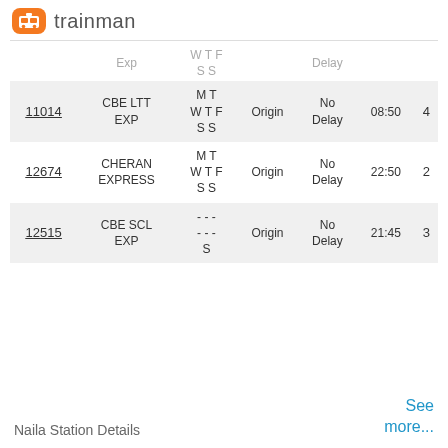[Figure (logo): Trainman logo — orange rounded square with train icon, followed by 'trainman' in grey text]
| Train No. | Name | Days | Source | Delay | Time | Platform |
| --- | --- | --- | --- | --- | --- | --- |
|  | Exp | W T F
S S |  | Delay |  |  |
| 11014 | CBE LTT EXP | M T
W T F
S S | Origin | No Delay | 08:50 | 4 |
| 12674 | CHERAN EXPRESS | M T
W T F
S S | Origin | No Delay | 22:50 | 2 |
| 12515 | CBE SCL EXP | - - -
- - -
S | Origin | No Delay | 21:45 | 3 |
Naila Station Details
See more...